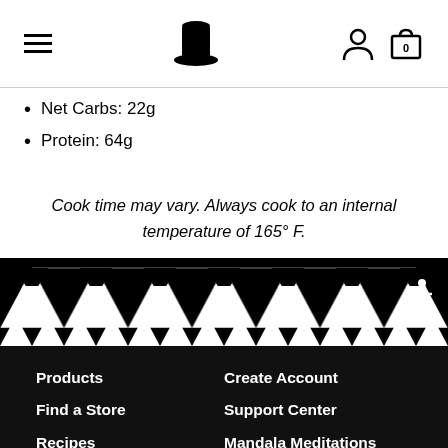[Navigation header with hamburger menu, top hat logo, user icon, and cart icon]
Net Carbs: 22g
Protein: 64g
Cook time may vary. Always cook to an internal temperature of 165° F.
[Figure (illustration): Decorative black and white geometric tribal/aztec triangle pattern band]
Products
Find a Store
Recipes
About
News
Log In
Create Account
Support Center
Mandala Meditations
Magic Eye Mondaze
Welcome to Ketopia
Spotify Playlists